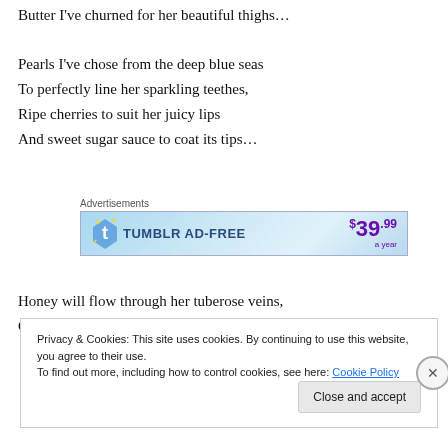Butter I've churned for her beautiful thighs…

Pearls I've chose from the deep blue seas
To perfectly line her sparkling teethes,
Ripe cherries to suit her juicy lips
And sweet sugar sauce to coat its tips…
[Figure (other): Tumblr AD-FREE advertisement banner showing $39.99 a year price]
Honey will flow through her tuberose veins,
Of the match I make to share your pains.
Privacy & Cookies: This site uses cookies. By continuing to use this website, you agree to their use.
To find out more, including how to control cookies, see here: Cookie Policy
Close and accept